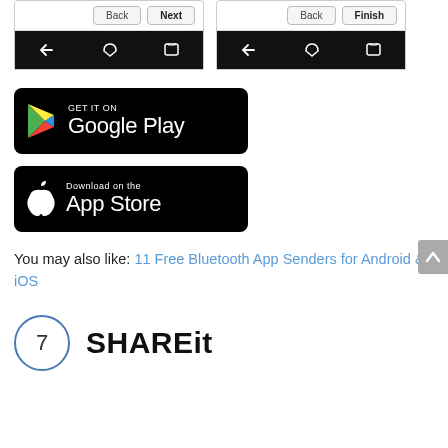[Figure (screenshot): Two mobile phone mockups showing Back/Next and Back/Finish navigation buttons with Android navigation bar]
[Figure (screenshot): Google Play store badge: GET IT ON Google Play]
[Figure (screenshot): Apple App Store badge: Download on the App Store]
You may also like: 11 Free Bluetooth App Senders for Android & iOS
7 SHAREit